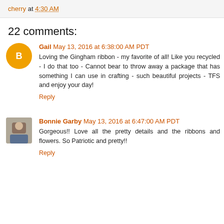cherry at 4:30 AM
22 comments:
Gail May 13, 2016 at 6:38:00 AM PDT
Loving the Gingham ribbon - my favorite of all! Like you recycled - I do that too - Cannot bear to throw away a package that has something I can use in crafting - such beautiful projects - TFS and enjoy your day!
Reply
Bonnie Garby May 13, 2016 at 6:47:00 AM PDT
Gorgeous!! Love all the pretty details and the ribbons and flowers. So Patriotic and pretty!!
Reply